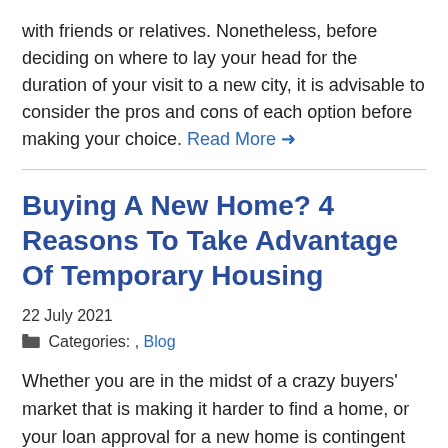with friends or relatives. Nonetheless, before deciding on where to lay your head for the duration of your visit to a new city, it is advisable to consider the pros and cons of each option before making your choice. Read More →
Buying A New Home? 4 Reasons To Take Advantage Of Temporary Housing
22 July 2021
Categories: , Blog
Whether you are in the midst of a crazy buyers' market that is making it harder to find a home, or your loan approval for a new home is contingent on the sale of your current home, it is not unheard of to be in a situation where you are in-between homes. Naturally, this is a stressful place to be, so